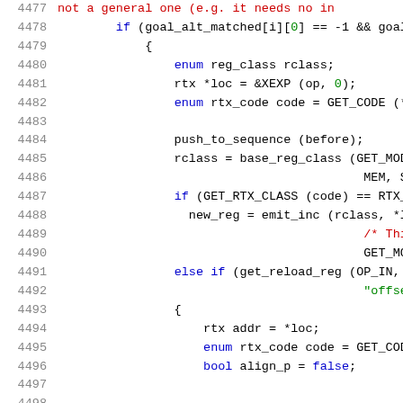[Figure (screenshot): Source code listing lines 4477-4499 of a C/C++ file showing syntax-highlighted code with line numbers. Keywords in blue, comments in red, string literals in green, type names in magenta/purple, general identifiers in black.]